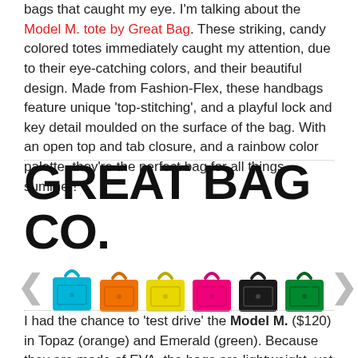bags that caught my eye. I'm talking about the Model M. tote by Great Bag. These striking, candy colored totes immediately caught my attention, due to their eye-catching colors, and their beautiful design. Made from Fashion-Flex, these handbags feature unique 'top-stitching', and a playful lock and key detail moulded on the surface of the bag. With an open top and tab closure, and a rainbow color palette, they're the perfect bag for all things summer!
[Figure (logo): Great Bag Co. logo in large bold black text with six colorful tote bags displayed below in teal/blue, orange, yellow, pink, black, and green colors, flanked by left and right navigation arrows.]
I had the chance to 'test drive' the Model M. ($120) in Topaz (orange) and Emerald (green). Because they are made of EVA, the bags are lightweight, yet sturdy, and easy to clean. I took them out for a day around town, but I plan to use them as beach and